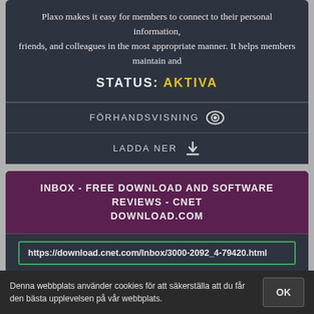Plaxo makes it easy for members to connect to their personal information, friends, and colleagues in the most appropriate manner. It helps members maintain and
STATUS: AKTIVA
FÖRHANDSVISNING
LADDA NER
INBOX - FREE DOWNLOAD AND SOFTWARE REVIEWS - CNET DOWNLOAD.COM
https://download.cnet.com/Inbox/3000-2092_4-79420.html
Inbox is a powerful multi function tool for managing your POP3 email before it reaches your email client application. It can fetch your email from multiple email accounts, collate mail from ...
Denna webbplats använder cookies för att säkerställa att du får den bästa upplevelsen på vår webbplats.